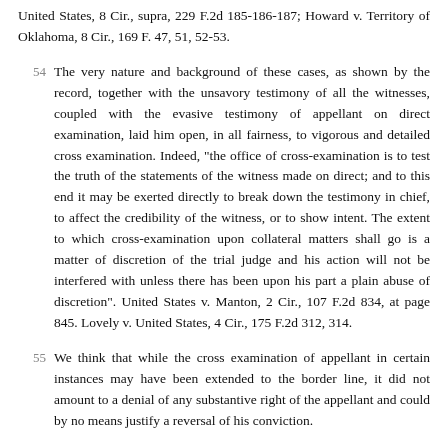United States, 8 Cir., supra, 229 F.2d 185-186-187; Howard v. Territory of Oklahoma, 8 Cir., 169 F. 47, 51, 52-53.
54  The very nature and background of these cases, as shown by the record, together with the unsavory testimony of all the witnesses, coupled with the evasive testimony of appellant on direct examination, laid him open, in all fairness, to vigorous and detailed cross examination. Indeed, "the office of cross-examination is to test the truth of the statements of the witness made on direct; and to this end it may be exerted directly to break down the testimony in chief, to affect the credibility of the witness, or to show intent. The extent to which cross-examination upon collateral matters shall go is a matter of discretion of the trial judge and his action will not be interfered with unless there has been upon his part a plain abuse of discretion". United States v. Manton, 2 Cir., 107 F.2d 834, at page 845. Lovely v. United States, 4 Cir., 175 F.2d 312, 314.
55  We think that while the cross examination of appellant in certain instances may have been extended to the border line, it did not amount to a denial of any substantive right of the appellant and could by no means justify a reversal of his conviction.
56  15. Appellant contends the court erred in allowing the government to